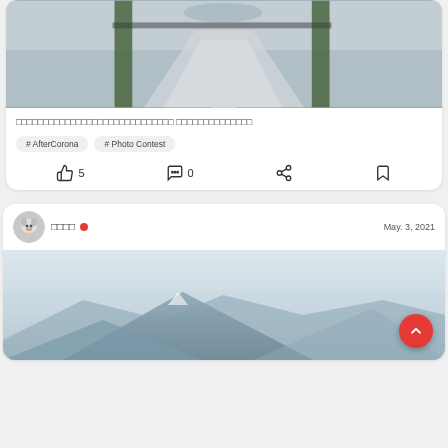[Figure (photo): Walkway/path photo seen through gate posts, daytime]
□□□□□□□□□□□□□□□□□□□□□□□□□□□□□ □□□□□□□□□□□□□□
# AfterCorona
# Photo Contest
5  0
□□□□  May. 3, 2021
[Figure (photo): Mountain landscape with hazy sky]